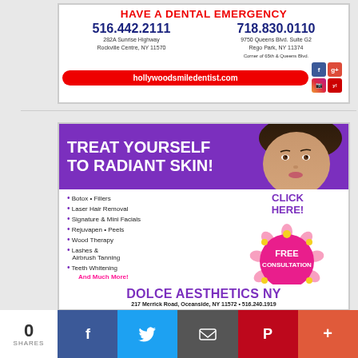[Figure (infographic): Hollywood Smile Dentist advertisement. Header: HAVE A DENTAL EMERGENCY in red. Two phone numbers: 516.442.2111 (282A Sunrise Highway, Rockville Centre, NY 11570) and 718.830.0110 (9750 Queens Blvd. Suite G2, Rego Park, NY 11374, Corner of 65th & Queens Blvd.). Website URL: hollywoodsmiledentist.com in red pill. Social media icons: Facebook, Google+, Instagram, Yelp.]
[Figure (infographic): Dolce Aesthetics NY advertisement. Purple header: TREAT YOURSELF TO RADIANT SKIN! with woman's face photo. Services listed: Botox, Fillers, Laser Hair Removal, Signature & Mini Facials, Rejuvapen, Peels, Wood Therapy, Lashes & Airbrush Tanning, Teeth Whitening, And Much More! CLICK HERE! button in purple. FREE CONSULTATION in pink circle with flowers. Company: DOLCE AESTHETICS NY, 217 Merrick Road, Oceanside, NY 11572, 516.240.1919]
0 SHARES
[Figure (infographic): Social sharing bar with Facebook, Twitter, Email, Pinterest, and plus buttons]